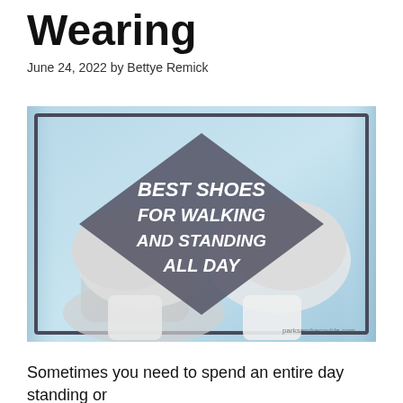Wearing
June 24, 2022 by Bettye Remick
[Figure (photo): Promotional image showing white sneakers/shoes against a light blue background with a diamond-shaped dark gray overlay containing text: 'BEST SHOES FOR WALKING AND STANDING ALL DAY'. Watermark reads 'parksandrecguide.com']
Sometimes you need to spend an entire day standing or